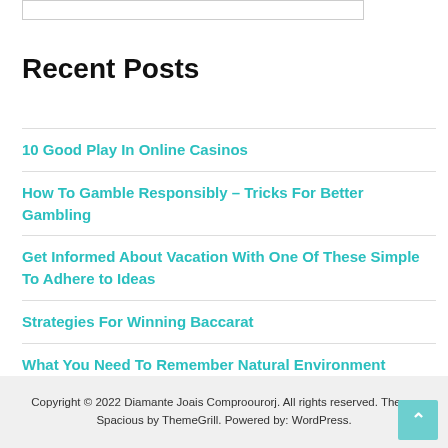Recent Posts
10 Good Play In Online Casinos
How To Gamble Responsibly – Tricks For Better Gambling
Get Informed About Vacation With One Of These Simple To Adhere to Ideas
Strategies For Winning Baccarat
What You Need To Remember Natural Environment Football Betting Tipsters
Copyright © 2022 Diamante Joais Comproourorj. All rights reserved. Theme Spacious by ThemeGrill. Powered by: WordPress.